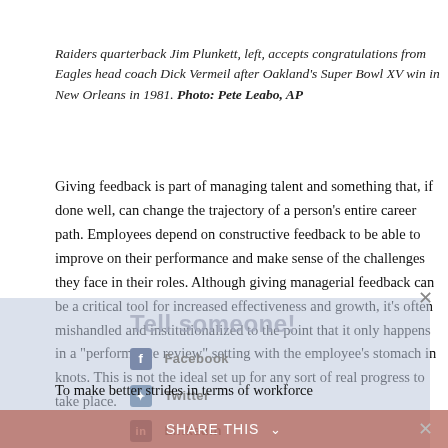Raiders quarterback Jim Plunkett, left, accepts congratulations from Eagles head coach Dick Vermeil after Oakland's Super Bowl XV win in New Orleans in 1981. Photo: Pete Leabo, AP
Giving feedback is part of managing talent and something that, if done well, can change the trajectory of a person's entire career path. Employees depend on constructive feedback to be able to improve on their performance and make sense of the challenges they face in their roles. Although giving managerial feedback can be a critical tool for increased effectiveness and growth, it's often mishandled and institutionalized to the point that it only happens in a "performance review" setting with the employee's stomach in knots. This is not the ideal set up for any sort of real progress to take place.
To make better strides in terms of workforce